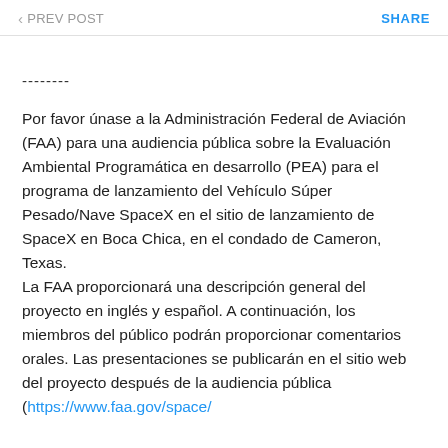< PREV POST    SHARE
--------
Por favor únase a la Administración Federal de Aviación (FAA) para una audiencia pública sobre la Evaluación Ambiental Programática en desarrollo (PEA) para el programa de lanzamiento del Vehículo Súper Pesado/Nave SpaceX en el sitio de lanzamiento de SpaceX en Boca Chica, en el condado de Cameron, Texas.
La FAA proporcionará una descripción general del proyecto en inglés y español. A continuación, los miembros del público podrán proporcionar comentarios orales. Las presentaciones se publicarán en el sitio web del proyecto después de la audiencia pública (https://www.faa.gov/space/